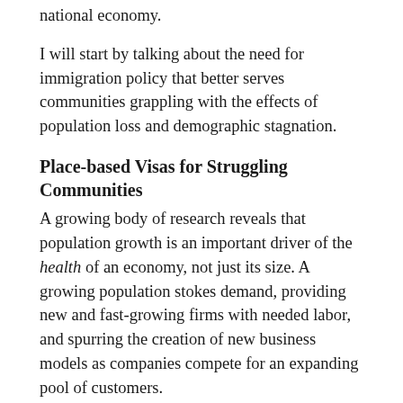national economy.
I will start by talking about the need for immigration policy that better serves communities grappling with the effects of population loss and demographic stagnation.
Place-based Visas for Struggling Communities
A growing body of research reveals that population growth is an important driver of the health of an economy, not just its size. A growing population stokes demand, providing new and fast-growing firms with needed labor, and spurring the creation of new business models as companies compete for an expanding pool of customers.
For most of its history, the United States enjoyed a young and quickly growing population. However, over the past decade, declining fertility rates, mostly flat immigration rates, and a rapidly aging society have dramatically altered